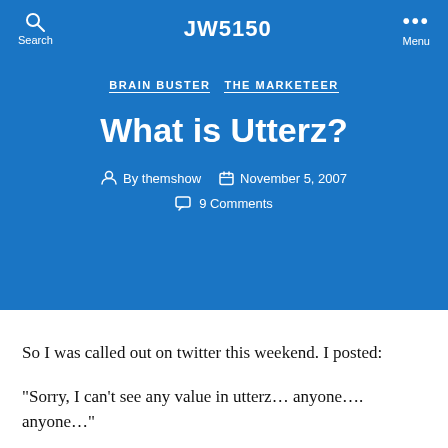JW5150
BRAIN BUSTER  THE MARKETEER
What is Utterz?
By themshow  November 5, 2007  9 Comments
So I was called out on twitter this weekend. I posted:
“Sorry, I can’t see any value in utterz… anyone…. anyone…”